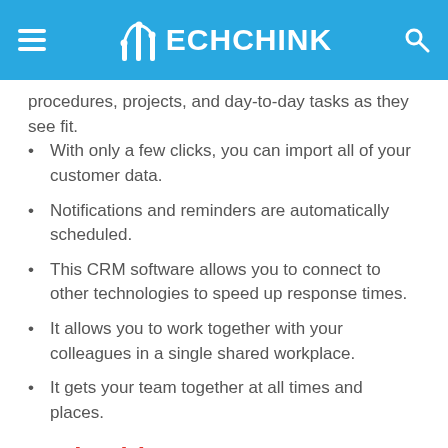TECHCHINK
procedures, projects, and day-to-day tasks as they see fit.
With only a few clicks, you can import all of your customer data.
Notifications and reminders are automatically scheduled.
This CRM software allows you to connect to other technologies to speed up response times.
It allows you to work together with your colleagues in a single shared workplace.
It gets your team together at all times and places.
2. Pipedrive